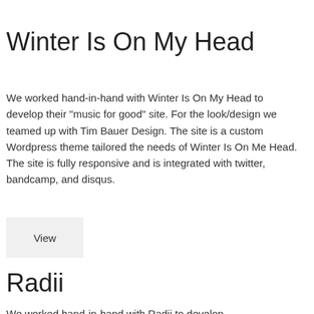Winter Is On My Head
We worked hand-in-hand with Winter Is On My Head to develop their “music for good” site. For the look/design we teamed up with Tim Bauer Design. The site is a custom Wordpress theme tailored the needs of Winter Is On Me Head. The site is fully responsive and is integrated with twitter, bandcamp, and disqus.
View
Radii
We worked hand-in-hand with Radii to develop